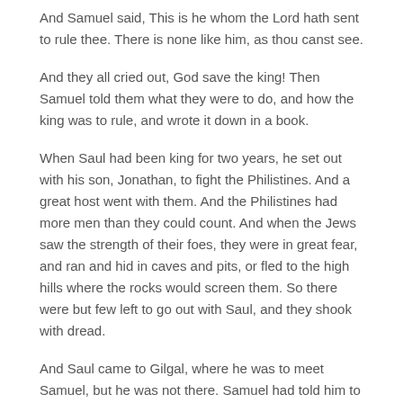And Samuel said, This is he whom the Lord hath sent to rule thee. There is none like him, as thou canst see.
And they all cried out, God save the king! Then Samuel told them what they were to do, and how the king was to rule, and wrote it down in a book.
When Saul had been king for two years, he set out with his son, Jonathan, to fight the Philistines. And a great host went with them. And the Philistines had more men than they could count. And when the Jews saw the strength of their foes, they were in great fear, and ran and hid in caves and pits, or fled to the high hills where the rocks would screen them. So there were but few left to go out with Saul, and they shook with dread.
And Saul came to Gilgal, where he was to meet Samuel, but he was not there. Samuel had told him to wait for him, and he would